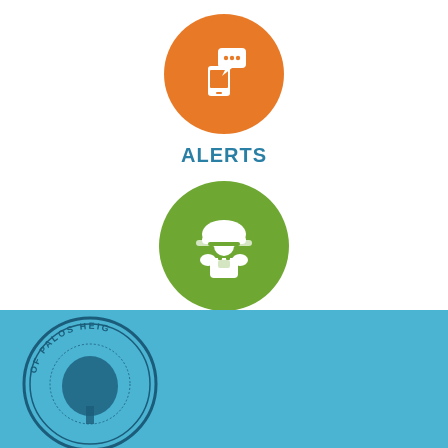[Figure (illustration): Orange circle with phone/message alert icon]
ALERTS
[Figure (illustration): Green circle with construction worker/public works icon]
PUBLIC WORKS
[Figure (logo): City of Palos Heights seal, partially visible in blue footer area]